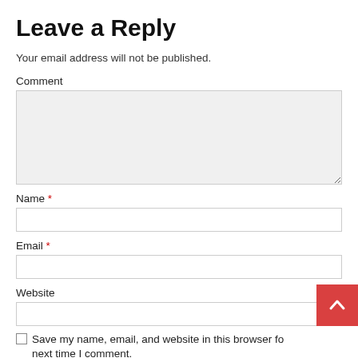Leave a Reply
Your email address will not be published.
Comment
Name *
Email *
Website
Save my name, email, and website in this browser for next time I comment.